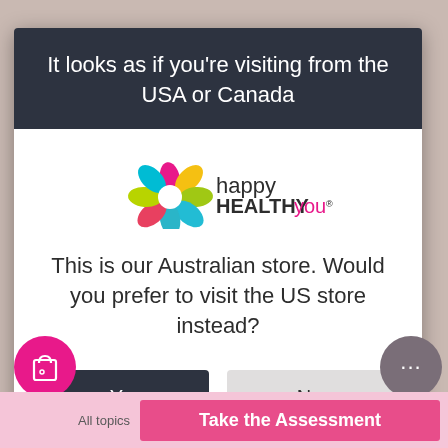It looks as if you're visiting from the USA or Canada
[Figure (logo): Happy Healthy You logo — colorful flower petals icon with the text 'happy HEALTHY you' in dark and colored lettering]
This is our Australian store. Would you prefer to visit the US store instead?
Yes
No
All topics
Take the Assessment